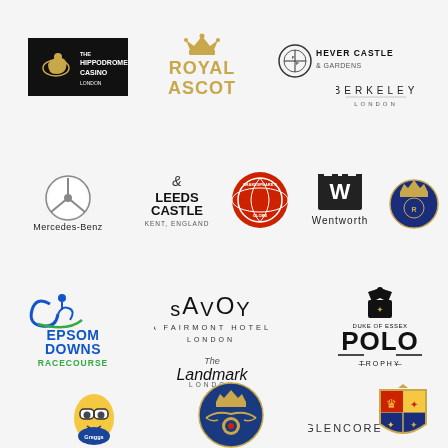[Figure (logo): The Hippodrome Casino London logo - black background with gold horse and rider]
[Figure (logo): Royal Ascot logo - gold crown above text ROYAL ASCOT in gold]
[Figure (logo): Hever Castle & Gardens logo - circular emblem with text]
[Figure (logo): Berkeley London logo - serif text BERKELEY above LONDON]
[Figure (logo): Mercedes-Benz logo - three-pointed star in circle above Mercedes-Benz text]
[Figure (logo): Leeds Castle Kent England logo]
[Figure (logo): Shakespeare's Globe logo - red circular badge]
[Figure (logo): Wentworth logo with W emblem]
[Figure (logo): Royal badge - blue circular emblem with crown]
[Figure (logo): Epsom Downs Racecourse logo - blue and green with stylized e]
[Figure (logo): Savoy A Fairmont Hotel London logo]
[Figure (logo): The Landmark London logo - script text]
[Figure (logo): Duke of Essex Polo Trophy logo - black crest with POLO in bold]
[Figure (logo): Greggs logo - egg character with glasses]
[Figure (logo): RAF Royal Air Force logo - blue circular badge with crown]
[Figure (logo): Glencore logo text]
[Figure (logo): Coat of arms - colorful heraldic emblem]